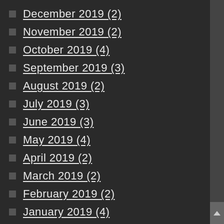December 2019 (2)
November 2019 (2)
October 2019 (4)
September 2019 (3)
August 2019 (2)
July 2019 (3)
June 2019 (3)
May 2019 (4)
April 2019 (2)
March 2019 (2)
February 2019 (2)
January 2019 (4)
December 2018 (4)
November 2018 (6)